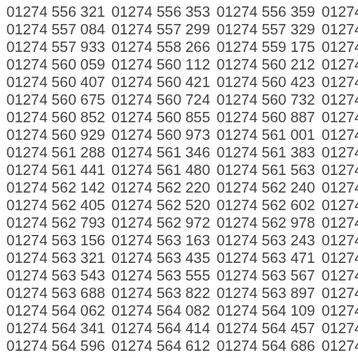01274 556 321 | 01274 556 353 | 01274 556 359 | 01274
01274 557 084 | 01274 557 299 | 01274 557 329 | 01274
01274 557 933 | 01274 558 266 | 01274 559 175 | 01274
01274 560 059 | 01274 560 112 | 01274 560 212 | 01274
01274 560 407 | 01274 560 421 | 01274 560 423 | 01274
01274 560 675 | 01274 560 724 | 01274 560 732 | 01274
01274 560 852 | 01274 560 855 | 01274 560 887 | 01274
01274 560 929 | 01274 560 973 | 01274 561 001 | 01274
01274 561 288 | 01274 561 346 | 01274 561 383 | 01274
01274 561 441 | 01274 561 480 | 01274 561 563 | 01274
01274 562 142 | 01274 562 220 | 01274 562 240 | 01274
01274 562 405 | 01274 562 520 | 01274 562 602 | 01274
01274 562 793 | 01274 562 972 | 01274 562 978 | 01274
01274 563 156 | 01274 563 163 | 01274 563 243 | 01274
01274 563 321 | 01274 563 435 | 01274 563 471 | 01274
01274 563 543 | 01274 563 555 | 01274 563 567 | 01274
01274 563 688 | 01274 563 822 | 01274 563 897 | 01274
01274 564 062 | 01274 564 082 | 01274 564 109 | 01274
01274 564 341 | 01274 564 414 | 01274 564 457 | 01274
01274 564 596 | 01274 564 612 | 01274 564 686 | 01274